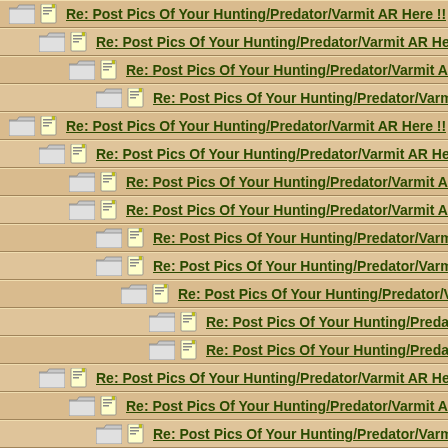Re: Post Pics Of Your Hunting/Predator/Varmit AR Here !!
Re: Post Pics Of Your Hunting/Predator/Varmit AR Here !!
Re: Post Pics Of Your Hunting/Predator/Varmit AR Here !!
Re: Post Pics Of Your Hunting/Predator/Varmit AR Here !!
Re: Post Pics Of Your Hunting/Predator/Varmit AR Here !!
Re: Post Pics Of Your Hunting/Predator/Varmit AR Here !!
Re: Post Pics Of Your Hunting/Predator/Varmit AR Here !!
Re: Post Pics Of Your Hunting/Predator/Varmit AR Here !!
Re: Post Pics Of Your Hunting/Predator/Varmit AR Here !!
Re: Post Pics Of Your Hunting/Predator/Varmit AR Here !!
Re: Post Pics Of Your Hunting/Predator/Varmit AR Here !!
Re: Post Pics Of Your Hunting/Predator/Varmit AR Here !!
Re: Post Pics Of Your Hunting/Predator/Varmit AR Here !!
Re: Post Pics Of Your Hunting/Predator/Varmit AR Here !!
Re: Post Pics Of Your Hunting/Predator/Varmit AR Here !!
Re: Post Pics Of Your Hunting/Predator/Varmit AR Here !!
Re: Post Pics Of Your Hunting/Predator/Varmit AR He...